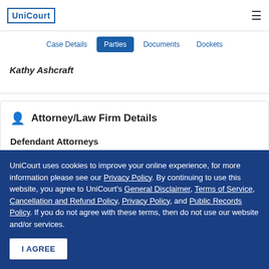UniCourt
Case Details | Parties | Documents | Dockets
Kathy Ashcraft
Attorney/Law Firm Details
Defendant Attorneys
UniCourt uses cookies to improve your online experience, for more information please see our Privacy Policy. By continuing to use this website, you agree to UniCourt's General Disclaimer, Terms of Service, Cancellation and Refund Policy, Privacy Policy, and Public Records Policy. If you do not agree with these terms, then do not use our website and/or services.
I AGREE